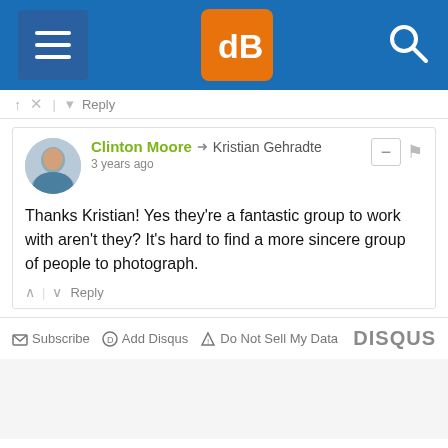[Figure (screenshot): Navigation bar with hamburger menu icon, dPS logo (orange square with 'dB' text), and search icon on blue background]
Reply
Clinton Moore → Kristian Gehradte
3 years ago
Thanks Kristian! Yes they're a fantastic group to work with aren't they? It's hard to find a more sincere group of people to photograph.
Reply
Subscribe  Add Disqus  Do Not Sell My Data  DISQUS